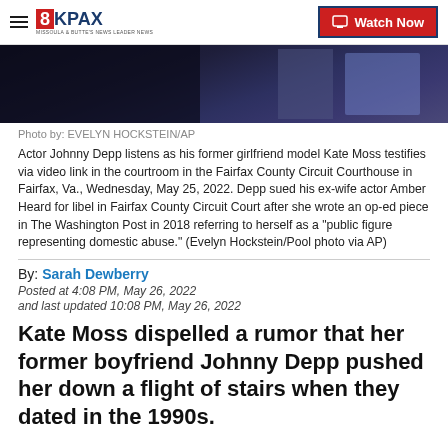8KPAX | Watch Now
[Figure (photo): Partial photo of courtroom scene, dark tones with blue/purple lighting, figures in background]
Photo by: EVELYN HOCKSTEIN/AP
Actor Johnny Depp listens as his former girlfriend model Kate Moss testifies via video link in the courtroom in the Fairfax County Circuit Courthouse in Fairfax, Va., Wednesday, May 25, 2022. Depp sued his ex-wife actor Amber Heard for libel in Fairfax County Circuit Court after she wrote an op-ed piece in The Washington Post in 2018 referring to herself as a "public figure representing domestic abuse." (Evelyn Hockstein/Pool photo via AP)
By: Sarah Dewberry
Posted at 4:08 PM, May 26, 2022
and last updated 10:08 PM, May 26, 2022
Kate Moss dispelled a rumor that her former boyfriend Johnny Depp pushed her down a flight of stairs when they dated in the 1990s.